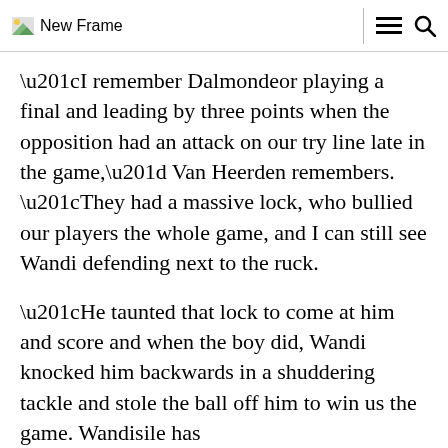New Frame
“I remember Dalmondeor playing a final and leading by three points when the opposition had an attack on our try line late in the game,” Van Heerden remembers. “They had a massive lock, who bullied our players the whole game, and I can still see Wandi defending next to the ruck.
“He taunted that lock to come at him and score and when the boy did, Wandi knocked him backwards in a shuddering tackle and stole the ball off him to win us the game. Wandisile has his metal to come at. He lives for his...